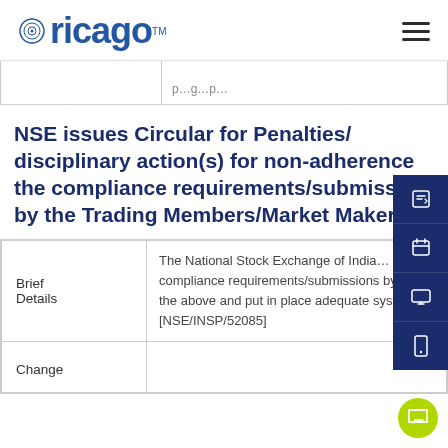ricago
|  |  |
NSE issues Circular for Penalties/disciplinary action(s) for non-adherence the compliance requirements/submissions by the Trading Members/Market Makers
| Brief Details | The National Stock Exchange of India... compliance requirements/submissions by th... the above and put in place adequate systems... [NSE/INSP/52085] |
| Change |  |